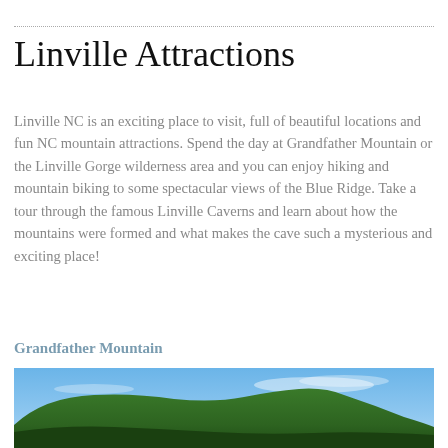Linville Attractions
Linville NC is an exciting place to visit, full of beautiful locations and fun NC mountain attractions. Spend the day at Grandfather Mountain or the Linville Gorge wilderness area and you can enjoy hiking and mountain biking to some spectacular views of the Blue Ridge. Take a tour through the famous Linville Caverns and learn about how the mountains were formed and what makes the cave such a mysterious and exciting place!
Grandfather Mountain
[Figure (photo): Photograph of a forested mountain peak with a blue sky and light clouds in the background, showing Grandfather Mountain with green tree-covered slopes]